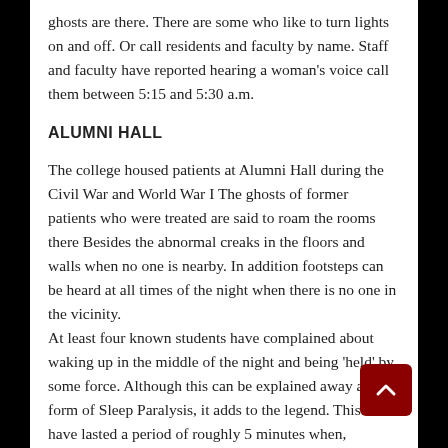ghosts are there. There are some who like to turn lights on and off. Or call residents and faculty by name. Staff and faculty have reported hearing a woman's voice call them between 5:15 and 5:30 a.m.
ALUMNI HALL
The college housed patients at Alumni Hall during the Civil War and World War I The ghosts of former patients who were treated are said to roam the rooms there Besides the abnormal creaks in the floors and walls when no one is nearby. In addition footsteps can be heard at all times of the night when there is no one in the vicinity.
At least four known students have complained about waking up in the middle of the night and being 'held' by some force. Although this can be explained away as a form of Sleep Paralysis, it adds to the legend. This is to have lasted a period of roughly 5 minutes when,